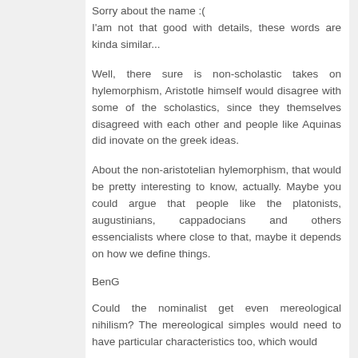Sorry about the name :(
I'am not that good with details, these words are kinda similar...
Well, there sure is non-scholastic takes on hylemorphism, Aristotle himself would disagree with some of the scholastics, since they themselves disagreed with each other and people like Aquinas did inovate on the greek ideas.
About the non-aristotelian hylemorphism, that would be pretty interesting to know, actually. Maybe you could argue that people like the platonists, augustinians, cappadocians and others essencialists where close to that, maybe it depends on how we define things.
BenG
Could the nominalist get even mereological nihilism? The mereological simples would need to have particular characteristics too, which would